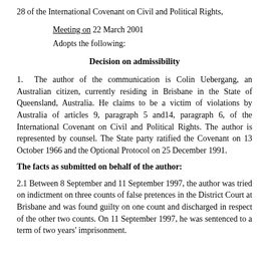28 of the International Covenant on Civil and Political Rights,
Meeting on 22 March 2001
Adopts the following:
Decision on admissibility
1.  The author of the communication is Colin Uebergang, an Australian citizen, currently residing in Brisbane in the State of Queensland, Australia. He claims to be a victim of violations by Australia of articles 9, paragraph 5 and14, paragraph 6, of the International Covenant on Civil and Political Rights. The author is represented by counsel. The State party ratified the Covenant on 13 October 1966 and the Optional Protocol on 25 December 1991.
The facts as submitted on behalf of the author:
2.1 Between 8 September and 11 September 1997, the author was tried on indictment on three counts of false pretences in the District Court at Brisbane and was found guilty on one count and discharged in respect of the other two counts. On 11 September 1997, he was sentenced to a term of two years' imprisonment.